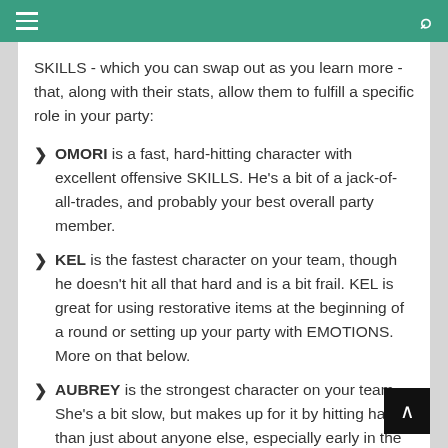≡  🔍
SKILLS - which you can swap out as you learn more - that, along with their stats, allow them to fulfill a specific role in your party:
OMORI is a fast, hard-hitting character with excellent offensive SKILLS. He's a bit of a jack-of-all-trades, and probably your best overall party member.
KEL is the fastest character on your team, though he doesn't hit all that hard and is a bit frail. KEL is great for using restorative items at the beginning of a round or setting up your party with EMOTIONS. More on that below.
AUBREY is the strongest character on your team. She's a bit slow, but makes up for it by hitting harder than just about anyone else, especially early in the game. She's also a good tank.
HERO is the party's healer, and will spend much of